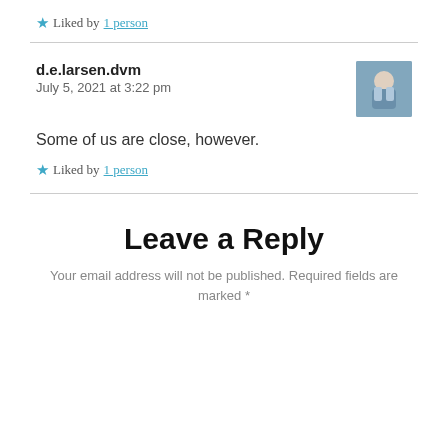★ Liked by 1 person
d.e.larsen.dvm
July 5, 2021 at 3:22 pm
Some of us are close, however.
★ Liked by 1 person
Leave a Reply
Your email address will not be published. Required fields are marked *